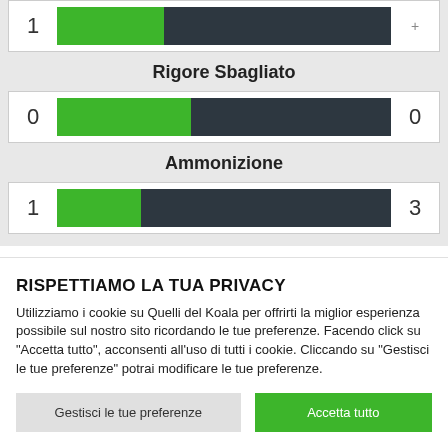[Figure (bar-chart): Rigore Sbagliato]
Rigore Sbagliato
[Figure (bar-chart): Ammonizione]
Ammonizione
RISPETTIAMO LA TUA PRIVACY
Utilizziamo i cookie su Quelli del Koala per offrirti la miglior esperienza possibile sul nostro sito ricordando le tue preferenze. Facendo click su “Accetta tutto”, acconsenti all'uso di tutti i cookie. Cliccando su "Gestisci le tue preferenze" potrai modificare le tue preferenze.
Gestisci le tue preferenze
Accetta tutto